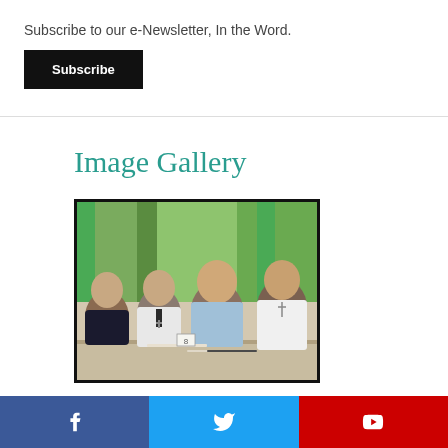Subscribe to our e-Newsletter, In the Word.
Subscribe
Image Gallery
[Figure (photo): Group of four men smiling at a table in what appears to be a meeting room with green curtains and trees visible through the window. A small number '8' placard is visible on the table.]
Facebook | Twitter | YouTube social share bar